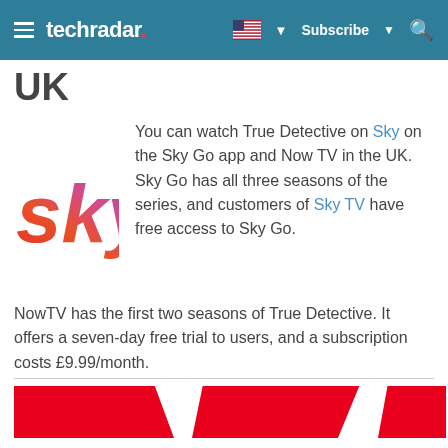techradar — Subscribe — [US Flag] — [Search]
UK
You can watch True Detective on Sky on the Sky Go app and Now TV in the UK. Sky Go has all three seasons of the series, and customers of Sky TV have free access to Sky Go.
[Figure (logo): Sky brand logo with gradient from orange/red to pink/purple/blue on word 'sky']
NowTV has the first two seasons of True Detective. It offers a seven-day free trial to users, and a subscription costs £9.99/month.
[Figure (illustration): Three partially visible red banner/image blocks at the bottom of the page]